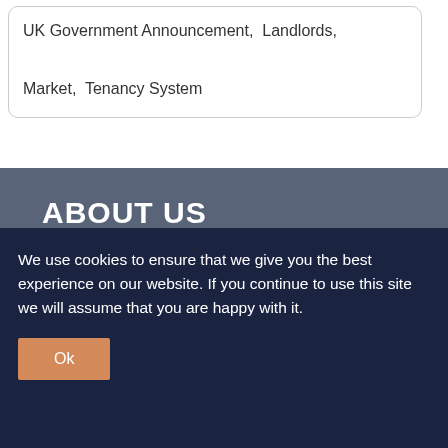UK Government Announcement,  Landlords,
Market,  Tenancy System
ABOUT US
[Figure (logo): PropTech Pioneer logo with hexagonal icon and text]
PropTech Pioneer is built for small investors to give them
We use cookies to ensure that we give you the best experience on our website. If you continue to use this site we will assume that you are happy with it.